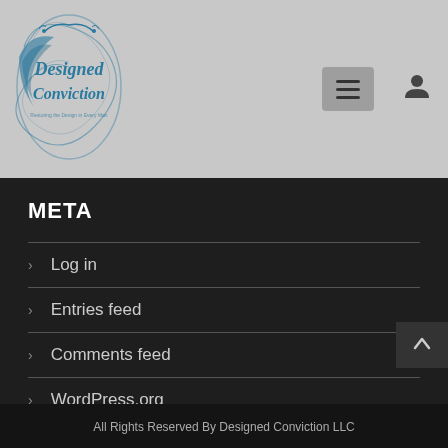[Figure (logo): Designed Conviction logo in blue decorative script style with ornamental flourishes]
META
Log in
Entries feed
Comments feed
WordPress.org
All Rights Reserved By Designed Conviction LLC